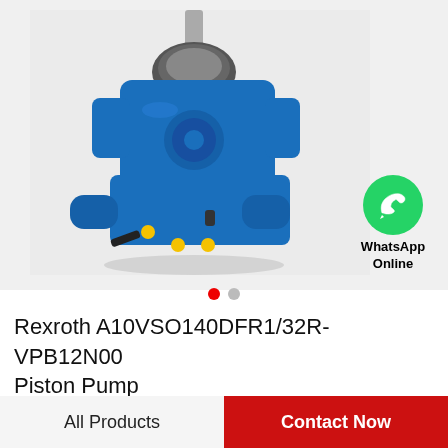[Figure (photo): Blue Rexroth A10VSO140DFR1/32R-VPB12N00 piston pump with metal shaft protruding from top, yellow port plugs visible on body]
[Figure (logo): WhatsApp green circle logo icon with white phone handset, labeled 'WhatsApp Online' in bold text]
Rexroth A10VSO140DFR1/32R-VPB12N00 Piston Pump
All Products
Contact Now